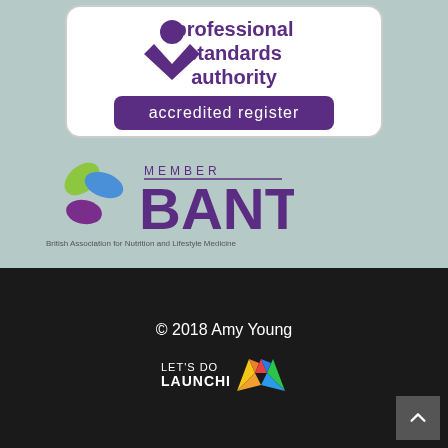[Figure (logo): Professional Standards Authority accredited register badge — purple logo with figure icon and checkmark, purple rounded rectangle with white text 'accredited register']
[Figure (logo): BANT Member logo — colorful leaf/petals icon on left, purple 'MEMBER' text above large purple 'BANT' text, below: 'British Association for Nutrition and Lifestyle Medicine']
© 2018 Amy Young
[Figure (logo): Let's Do Launchi logo — white bold text 'LET'S DO LAUNCHI' with colorful geometric M-shaped icon in yellow, orange, blue, red, green colors]